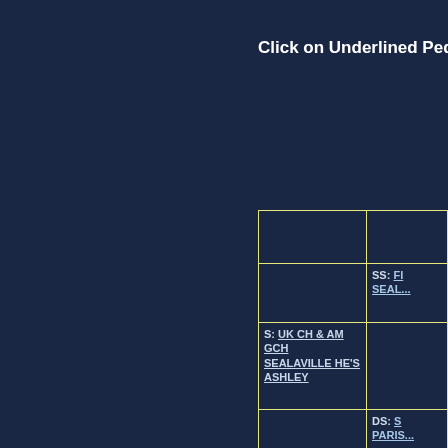Click on Underlined Pedigree to
|  |  |
|  | SS: FI SEAL... |
| S: UK CH & AM GCH SEALAVILLE HE'S ASHLEY |  |
|  | DS: S PARIS... |
|  |  |
|  |  |
|  | DS DO LEON... |
| D DOUKRAAN STELLAR |  |